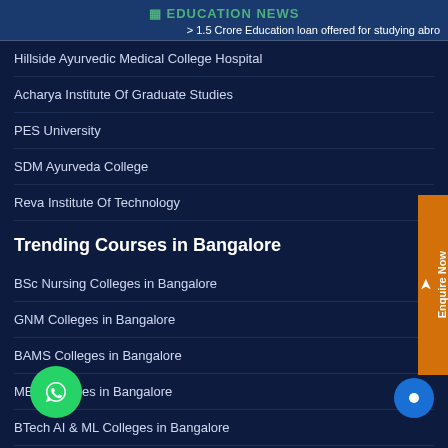EDUCATION NEWS
> 1.5 Crore Education loan offered for studying abro
Hillside Ayurvedic Medical College Hospital
Acharya Institute Of Graduate Studies
PES University
SDM Ayurveda College
Reva Institute Of Technology
Trending Courses in Bangalore
BSc Nursing Colleges in Bangalore
GNM Colleges in Bangalore
BAMS Colleges in Bangalore
MBA Colleges in Bangalore
BTech AI & ML Colleges in Bangalore
BSc Cardiac Care Colleges in Bangalore
BSc Anaesia Colleges in Bangalore
BSc MLT Colleges in Bangalore